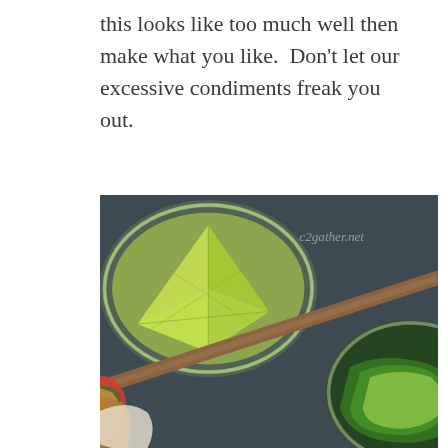this looks like too much well then make what you like.  Don't let our excessive condiments freak you out.
[Figure (photo): Overhead photo of fajita ingredients including lime wedges in a glass bowl, avocado slices in a glass bowl with green sauce, sautéed chicken strips with red and green peppers and onions on a dark surface. Watermark reads 'c2gather.net'.]